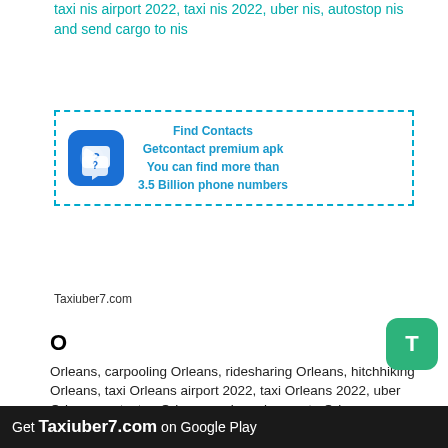taxi nis airport 2022, taxi nis 2022, uber nis, autostop nis and send cargo to nis
[Figure (infographic): Find Contacts ad box with phone icon logo and text: Find Contacts, Getcontact premium apk, You can find more than 3.5 Billion phone numbers]
Taxiuber7.com
O
Orleans, carpooling Orleans, ridesharing Orleans, hitchhiking Orleans, taxi Orleans airport 2022, taxi Orleans 2022, uber Orleans, autostop Orleans and send cargo to Orleans
Oviedo, carpooling Oviedo, ridesharing Oviedo, hitchhiking Oviedo, taxi Oviedo airport 2022, taxi Oviedo 2022, uber Oviedo, autostop Oviedo and send cargo to Oviedo
Ourense, carpooling Ourense, ridesharing Ourense, hitchhiking Ourense, taxi Ourense airport 2022, taxi Ourense 2022, uber Ourense, autostop Ourense and send cargo to Ourense
ottawa, carpooling ottawa, ridesharing ottawa
Get Taxiuber7.com on Google Play